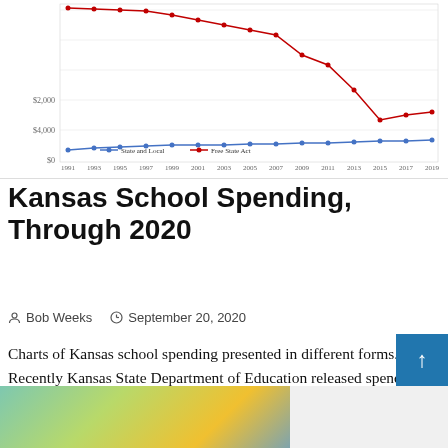[Figure (line-chart): Partial view of a line chart showing Kansas school spending over time, with two series: State and Local (blue line) and Free State Act (red line with dots), from approximately 1991 to 2021. Y-axis shows values from $0 to $4,000+.]
Kansas School Spending, Through 2020
Bob Weeks   September 20, 2020
Charts of Kansas school spending presented in different forms. Recently Kansas State Department of Education released spending figures for the 2020 school year, that is, the schoo...
[Figure (photo): Partial bottom image showing colorful abstract or floral pattern in blue, yellow, and green tones.]